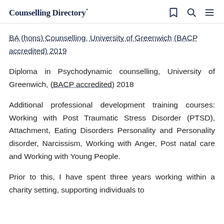Counselling Directory*
BA (hons) Counselling, University of Greenwich (BACP accredited) 2019
Diploma in Psychodynamic counselling, University of Greenwich, (BACP accredited) 2018
Additional professional development training courses: Working with Post Traumatic Stress Disorder (PTSD), Attachment, Eating Disorders Personality and Personality disorder, Narcissism, Working with Anger, Post natal care and Working with Young People.
Prior to this, I have spent three years working within a charity setting, supporting individuals to